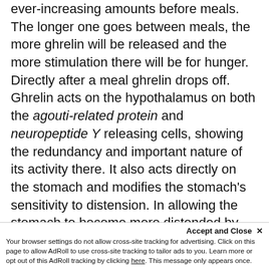ever-increasing amounts before meals. The longer one goes between meals, the more ghrelin will be released and the more stimulation there will be for hunger. Directly after a meal ghrelin drops off. Ghrelin acts on the hypothalamus on both the agouti-related protein and neuropeptide Y releasing cells, showing the redundancy and important nature of its activity there. It also acts directly on the stomach and modifies the stomach's sensitivity to distension. In allowing the stomach to become more distended by desensitizing the vagus nerve, which is responsible for sensing the fullness of the stomach, it allows
Accept and Close ✕
Your browser settings do not allow cross-site tracking for advertising. Click on this page to allow AdRoll to use cross-site tracking to tailor ads to you. Learn more or opt out of this AdRoll tracking by clicking here. This message only appears once.